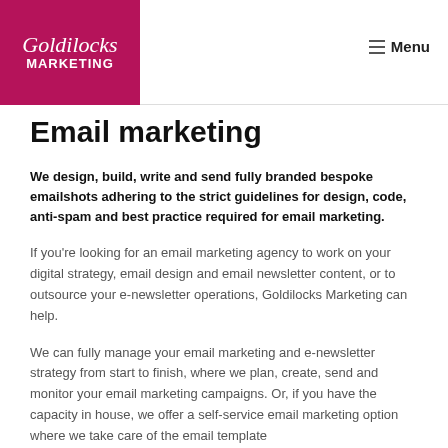[Figure (logo): Goldilocks Marketing logo — magenta/pink square background with white italic script 'Goldilocks' and bold 'MARKETING' text]
Menu
Email marketing
We design, build, write and send fully branded bespoke emailshots adhering to the strict guidelines for design, code, anti-spam and best practice required for email marketing.
If you're looking for an email marketing agency to work on your digital strategy, email design and email newsletter content, or to outsource your e-newsletter operations, Goldilocks Marketing can help.
We can fully manage your email marketing and e-newsletter strategy from start to finish, where we plan, create, send and monitor your email marketing campaigns. Or, if you have the capacity in house, we offer a self-service email marketing option where we take care of the email template